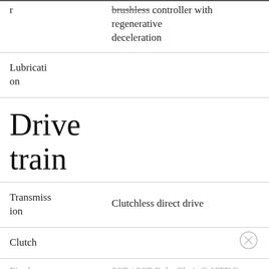| Property | Value |
| --- | --- |
| r | brushless controller with regenerative deceleration |
| Lubrication |  |
| Transmission | Clutchless direct drive |
| Clutch |  |
| Final | 90T / 20T Poly Chain® HTD® Carbon™ |
Drive train